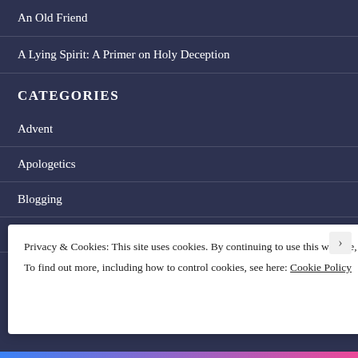An Old Friend
A Lying Spirit: A Primer on Holy Deception
CATEGORIES
Advent
Apologetics
Blogging
Book Giveaways
Privacy & Cookies: This site uses cookies. By continuing to use this website, you agree to their use.
To find out more, including how to control cookies, see here: Cookie Policy
Close and accept